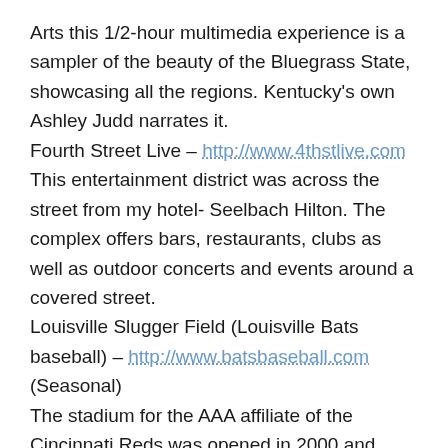Arts this 1/2-hour multimedia experience is a sampler of the beauty of the Bluegrass State, showcasing all the regions. Kentucky's own Ashley Judd narrates it.
Fourth Street Live – http://www.4thstlive.com This entertainment district was across the street from my hotel- Seelbach Hilton. The complex offers bars, restaurants, clubs as well as outdoor concerts and events around a covered street.
Louisville Slugger Field (Louisville Bats baseball) – http://www.batsbaseball.com (Seasonal) The stadium for the AAA affiliate of the Cincinnati Reds was opened in 2000 and seats over 13,000. It is located one block from Waterfront Park. Theominous stone hero...